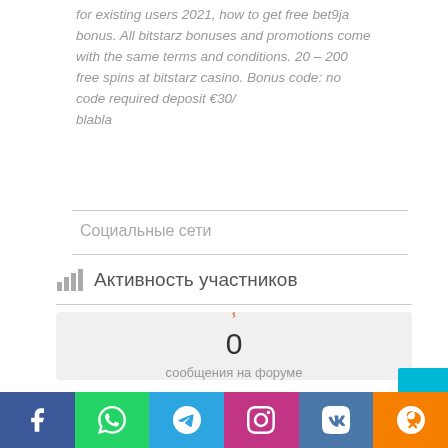for existing users 2021, how to get free bet9ja bonus. All bitstarz bonuses and promotions come with the same terms and conditions. 20 – 200 free spins at bitstarz casino. Bonus code: no code required deposit €30/
blabla
Социальные сети
Активность участников
[Figure (infographic): Orange pencil icon above a count of 0 forum messages]
0
сообщения на форуме
[Figure (infographic): Social media footer bar with Facebook, WhatsApp, Telegram, Instagram, VK, Odnoklassniki icons]